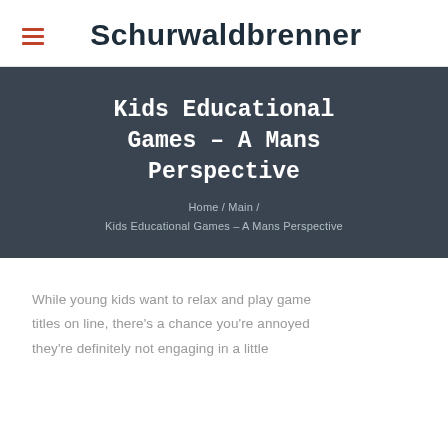Schurwaldbrenner
Kids Educational Games – A Mans Perspective
Home / Main / Kids Educational Games – A Mans Perspective
While young kids want to relax and play game titles on line, there's a chance you're annoyed they're definitely not engaging in a little